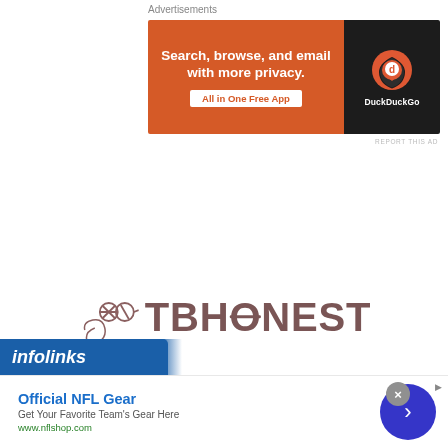Advertisements
[Figure (screenshot): DuckDuckGo advertisement banner: orange background on left with text 'Search, browse, and email with more privacy. All in One Free App', dark background on right with DuckDuckGo shield logo and text 'DuckDuckGo']
REPORT THIS AD
[Figure (logo): TBHONEST logo with decorative script icon on the left and bold stylized letters TBHONEST where the O has a horizontal line through it, in brownish-red color]
A NICE AND HONEST LOOK AT BOOKS, MUSIC, THEATRE , TRAVEL AND EVERYTHING ELSE IN BETWEEN.
[Figure (screenshot): Infolinks advertisement bar with blue infolinks logo, and NFL Gear ad showing 'Official NFL Gear - Get Your Favorite Team's Gear Here - www.nflshop.com' with a blue circular next arrow button and grey close button]